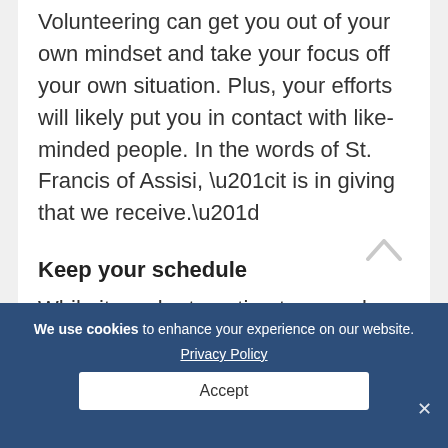Volunteering can get you out of your own mindset and take your focus off your own situation. Plus, your efforts will likely put you in contact with like-minded people. In the words of St. Francis of Assisi, “it is in giving that we receive.”
Keep your schedule
While it can be tempting to cancel social commitments, getting dressed, going out, and interacting with other people can make you feel better. Even when you don’t look or feel your best, don’t skip your
We use cookies to enhance your experience on our website. Privacy Policy Accept